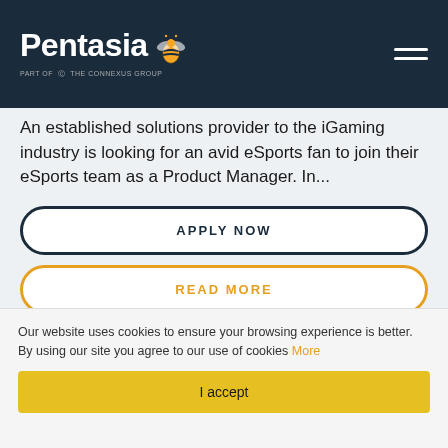Pentasia (logo with bee icon) — navigation header
An established solutions provider to the iGaming industry is looking for an avid eSports fan to join their eSports team as a Product Manager. In...
APPLY NOW
READ MORE
SAVE JOB
Our website uses cookies to ensure your browsing experience is better. By using our site you agree to our use of cookies More
I accept